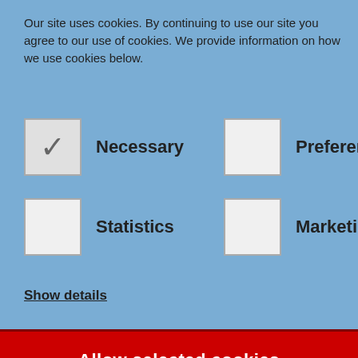Our site uses cookies. By continuing to use our site you agree to our use of cookies. We provide information on how we use cookies below.
Necessary
Preferences
Statistics
Marketing
Show details
Allow selected cookies
09/10/2018
Reference:
WQ.197/2018
WQ.198/2018 Loans to Woodside Farm